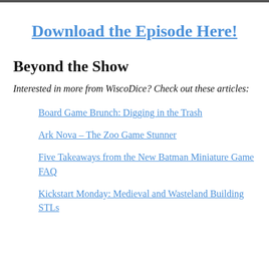Download the Episode Here!
Beyond the Show
Interested in more from WiscoDice? Check out these articles:
Board Game Brunch: Digging in the Trash
Ark Nova – The Zoo Game Stunner
Five Takeaways from the New Batman Miniature Game FAQ
Kickstart Monday: Medieval and Wasteland Building STLs